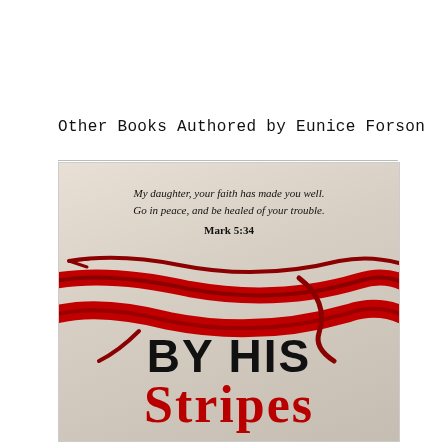Other Books Authored by Eunice Forson
[Figure (illustration): Book cover of 'By His Stripes' by Eunice Forson. The cover has a textured cream/grey background with dramatic red stripe/wound marks across the middle. A scripture quote reads: 'My daughter, your faith has made you well. Go in peace, and be healed of your trouble. Mark 5:34'. The title 'BY HIS' is in large black bold text and 'STRIPES' in large bold red serif text at the bottom.]